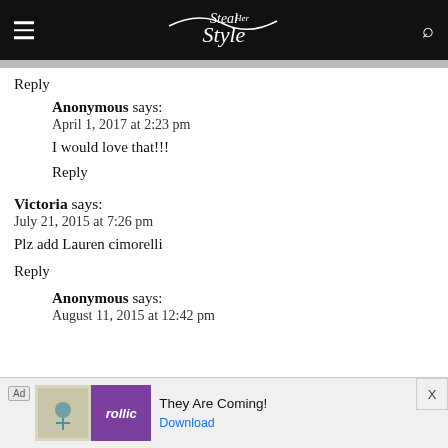Steal Her Style
Reply
Anonymous says:
April 1, 2017 at 2:23 pm
I would love that!!!
Reply
Victoria says:
July 21, 2015 at 7:26 pm
Plz add Lauren cimorelli
Reply
Anonymous says:
August 11, 2015 at 12:42 pm
[Figure (screenshot): Advertisement banner at the bottom: Rollic game ad with 'They Are Coming!' text and Download link]